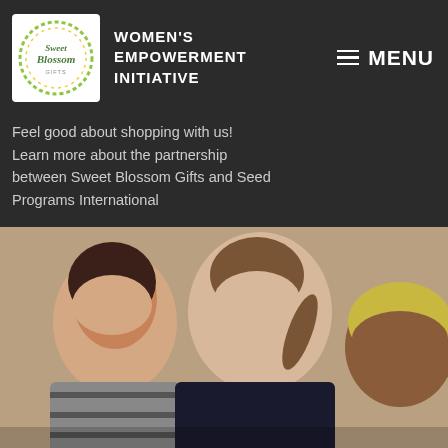[Figure (logo): Sweet Blossom Gifts circular logo with dotted border in green and yellow colors]
WOMEN'S EMPOWERMENT INITIATIVE
Feel good about shopping with us! Learn more about the partnership between Sweet Blossom Gifts and Seed Programs International
[Figure (photo): Group photo of three women smiling, with text overlay 'WHAT MOTIVATES US']
WHAT MOTIVATES US
Follow ...